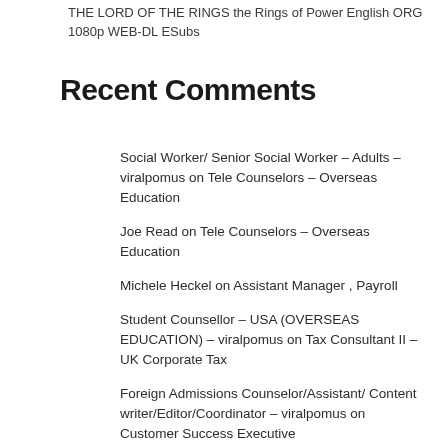THE LORD OF THE RINGS the Rings of Power English ORG 1080p WEB-DL ESubs
Recent Comments
Social Worker/ Senior Social Worker – Adults – viralpomus on Tele Counselors – Overseas Education
Joe Read on Tele Counselors – Overseas Education
Michele Heckel on Assistant Manager , Payroll
Student Counsellor – USA (OVERSEAS EDUCATION) – viralpomus on Tax Consultant II – UK Corporate Tax
Foreign Admissions Counselor/Assistant/ Content writer/Editor/Coordinator – viralpomus on Customer Success Executive